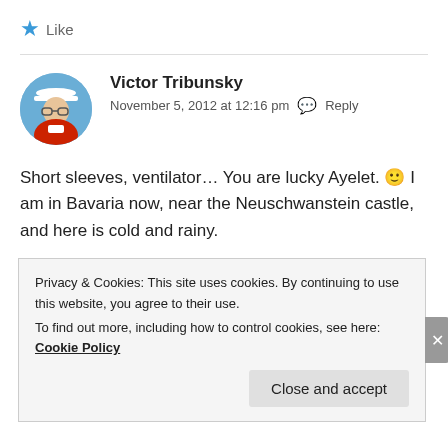★ Like
Victor Tribunsky
November 5, 2012 at 12:16 pm  Reply
Short sleeves, ventilator… You are lucky Ayelet. 🙂 I am in Bavaria now, near the Neuschwanstein castle, and here is cold and rainy.
Privacy & Cookies: This site uses cookies. By continuing to use this website, you agree to their use.
To find out more, including how to control cookies, see here: Cookie Policy
Close and accept